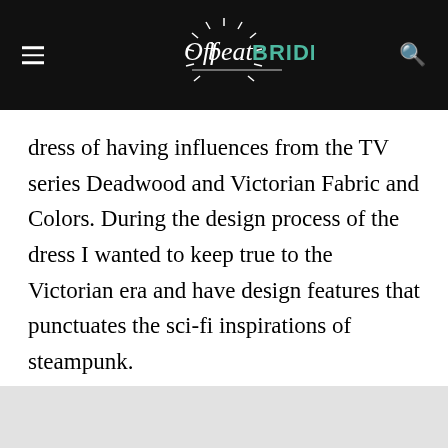Offbeat BRIDE
dress of having influences from the TV series Deadwood and Victorian Fabric and Colors. During the design process of the dress I wanted to keep true to the Victorian era and have design features that punctuates the sci-fi inspirations of steampunk.